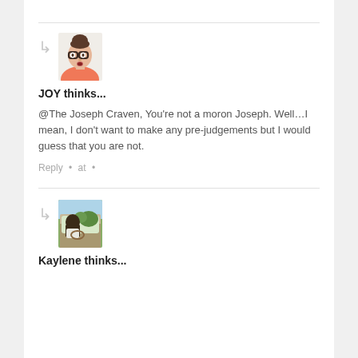[Figure (photo): Avatar of JOY - woman with glasses and hair up, wearing pink/orange top]
JOY thinks...
@The Joseph Craven, You're not a moron Joseph. Well…I mean, I don't want to make any pre-judgements but I would guess that you are not.
Reply • at •
[Figure (photo): Avatar of Kaylene - person in car, outdoors scene]
Kaylene thinks...